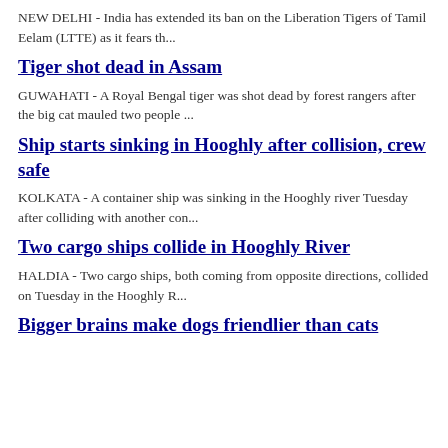NEW DELHI - India has extended its ban on the Liberation Tigers of Tamil Eelam (LTTE) as it fears th...
Tiger shot dead in Assam
GUWAHATI - A Royal Bengal tiger was shot dead by forest rangers after the big cat mauled two people ...
Ship starts sinking in Hooghly after collision, crew safe
KOLKATA - A container ship was sinking in the Hooghly river Tuesday after colliding with another con...
Two cargo ships collide in Hooghly River
HALDIA - Two cargo ships, both coming from opposite directions, collided on Tuesday in the Hooghly R...
Bigger brains make dogs friendlier than cats